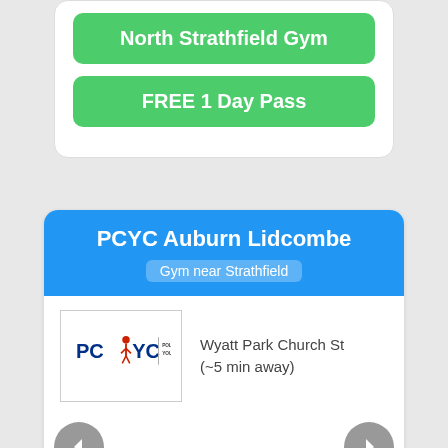[Figure (logo): North Strathfield Gym green button (partial top card)]
FREE 1 Day Pass
PCYC Auburn Lidcombe
Gym near Strathfield
[Figure (logo): PCYC Police Citizens Youth Clubs logo]
Wyatt Park Church St (~5 min away)
✓Gym ✓Cardio ✓Yoga ✓Zumba